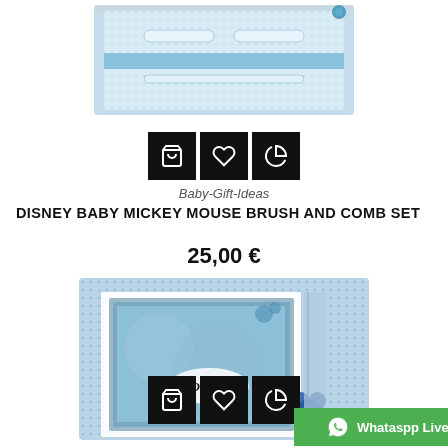[Figure (photo): Disney Baby Mickey Mouse Brush and Comb Set product in light blue gift box, top portion visible]
Baby-Gift-Ideas
DISNEY BABY MICKEY MOUSE BRUSH AND COMB SET
25,00 €
[Figure (photo): Disney Baby product in light blue gift box with silver photo frame showing Disney logo and Mickey Mouse figurine]
Whataspp Live Chat